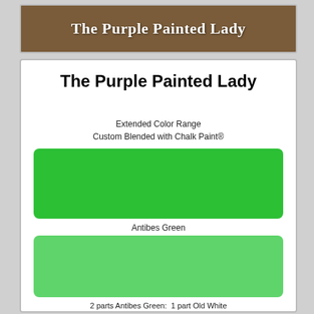[Figure (photo): Banner with wood-grain background showing 'The Purple Painted Lady' in white serif text]
The Purple Painted Lady
Extended Color Range
Custom Blended with Chalk Paint®
[Figure (illustration): Green paint color swatch for Antibes Green]
Antibes Green
[Figure (illustration): Lighter green paint color swatch for 2 parts Antibes Green: 1 part Old White blend]
2 parts Antibes Green:  1 part Old White
[Figure (illustration): Partially visible light green paint color swatch at bottom]